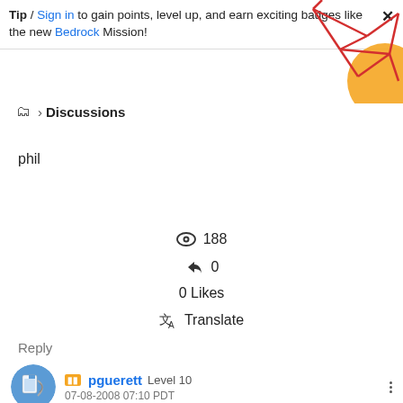Tip / Sign in to gain points, level up, and earn exciting badges like the new Bedrock Mission!
[Figure (illustration): Decorative geometric red line art with orange circle in top-right corner]
🗂 > Discussions
phil
👁 188
↩ 0
0 Likes
⬡A Translate
Reply
pguerett  Level 10  07-08-2008 07:10 PDT